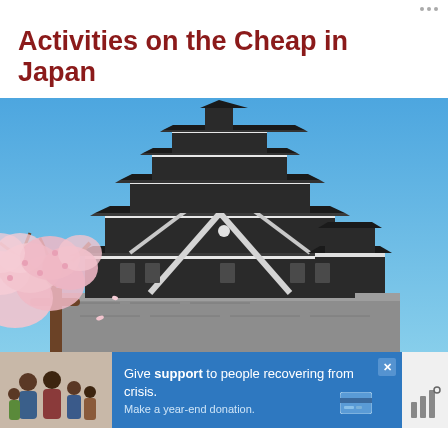···
Activities on the Cheap in Japan
[Figure (photo): A traditional Japanese multi-tiered castle (Kumamoto Castle) with black wooden walls and white trim, photographed from below against a bright blue sky, with cherry blossom trees (sakura) in bloom in the foreground]
[Figure (infographic): Advertisement banner: image of smiling family on left; blue background with text 'Give support to people recovering from crisis. Make a year-end donation.' and a close button (X); small credit card icon on right; weather icon bottom right]